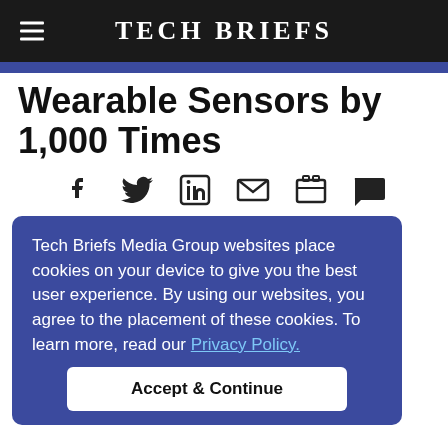Tech Briefs
Wearable Sensors by 1,000 Times
[Figure (infographic): Social sharing icons: Facebook, Twitter, LinkedIn, Email, Print, Comment]
Tech Briefs Media Group websites place cookies on your device to give you the best user experience. By using our websites, you agree to the placement of these cookies. To learn more, read our Privacy Policy.
Consumers wear more wearable devices, and as the data they transmit increase and innovative connection methods are being sought.